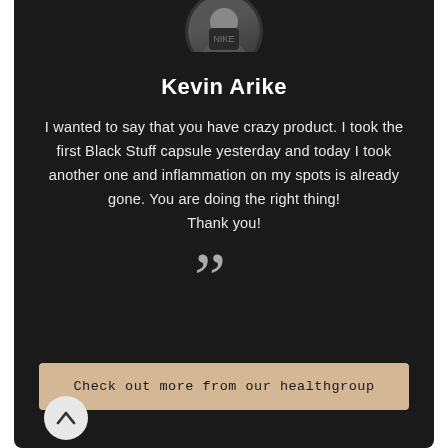[Figure (photo): Circular avatar photo of Kevin Arike, a person wearing a dark Nike jersey, partially visible at the top of the card]
Kevin Arike
I wanted to say that you have crazy product. I took the first Black Stuff capsule yesterday and today I took another one and inflammation on my spots is already gone. You are doing the right thing! Thank you!
[Figure (illustration): Large closing double quotation marks in light gray]
Check out more from our healthgroup